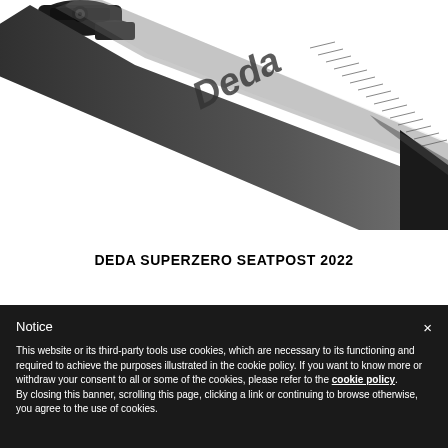[Figure (photo): Close-up photo of a black Deda carbon seatpost with 'Deda' branding etched on the surface, photographed against a white background. The seatpost curves diagonally from upper-left to lower-right.]
DEDA SUPERZERO SEATPOST 2022
Notice
This website or its third-party tools use cookies, which are necessary to its functioning and required to achieve the purposes illustrated in the cookie policy. If you want to know more or withdraw your consent to all or some of the cookies, please refer to the cookie policy. By closing this banner, scrolling this page, clicking a link or continuing to browse otherwise, you agree to the use of cookies.